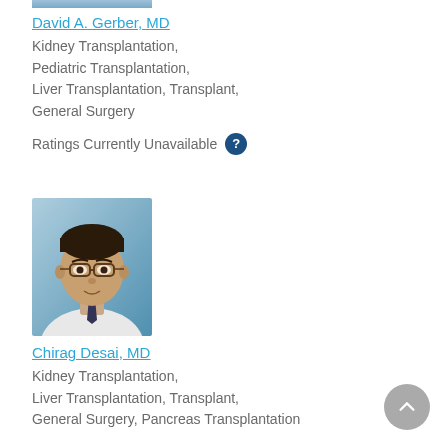[Figure (photo): Partial photo of David A. Gerber, MD (cropped at top)]
David A. Gerber, MD
Kidney Transplantation, Pediatric Transplantation, Liver Transplantation, Transplant, General Surgery
Ratings Currently Unavailable
[Figure (photo): Photo of Chirag Desai, MD — a man with dark hair and glasses wearing a white lab coat and dark tie, against a blue background]
Chirag Desai, MD
Kidney Transplantation, Liver Transplantation, Transplant, General Surgery, Pancreas Transplantation